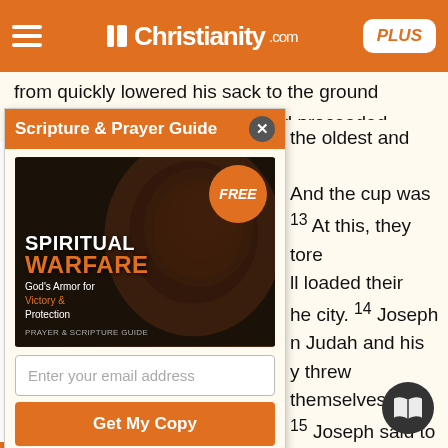Christianity.com PLUS
from quickly lowered his sack to the ground and opened it. 12 Then the steward proceeded the oldest and And the cup was 13 At this, they tore ll loaded their he city. 14 Joseph n Judah and his y threw themselves 15 Joseph said to ave done? Don't you can find things out by we say to my lo we say? How can we
[Figure (infographic): Popup advertisement for Spiritual Warfare Scripture & Prayer Guide book, showing book cover with lion image, FREE badge, email input field, Get My Copy button, and fine print about Christianity.com updates]
*Plus get daily updates and special offers from Christianity.com! Terms